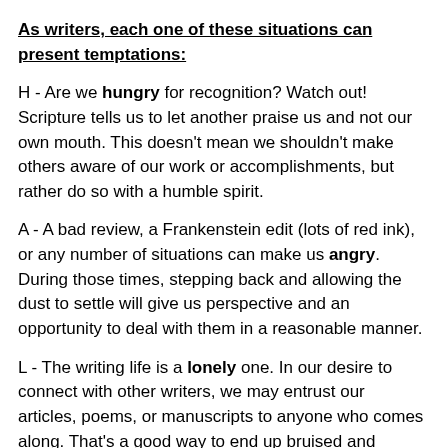As writers, each one of these situations can present temptations:
H - Are we hungry for recognition? Watch out! Scripture tells us to let another praise us and not our own mouth. This doesn't mean we shouldn't make others aware of our work or accomplishments, but rather do so with a humble spirit.
A - A bad review, a Frankenstein edit (lots of red ink), or any number of situations can make us angry. During those times, stepping back and allowing the dust to settle will give us perspective and an opportunity to deal with them in a reasonable manner.
L - The writing life is a lonely one. In our desire to connect with other writers, we may entrust our articles, poems, or manuscripts to anyone who comes along. That's a good way to end up bruised and bleeding from non-constructive criticism.
T - With all the demands of life and writing, it's easy to get tired. During those times, avoid making drastic decisions